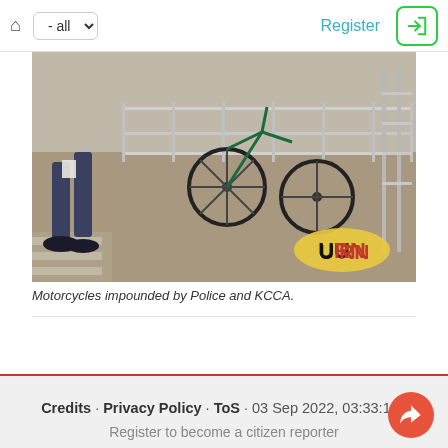home | - all | Register | login
[Figure (photo): Motorcycles impounded by Police and KCCA, with a person standing near bicycles/motorcycles lined up at a rack. A URN logo watermark visible in the lower right corner of the photo.]
Motorcycles impounded by Police and KCCA.
Credits · Privacy Policy · ToS · 03 Sep 2022, 03:33:10 · Register to become a citizen reporter